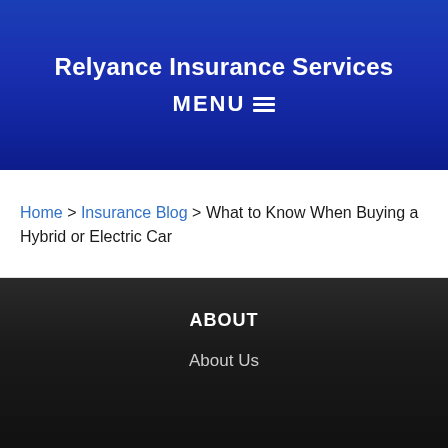Relyance Insurance Services
MENU ≡
Home > Insurance Blog > What to Know When Buying a Hybrid or Electric Car
ABOUT
About Us